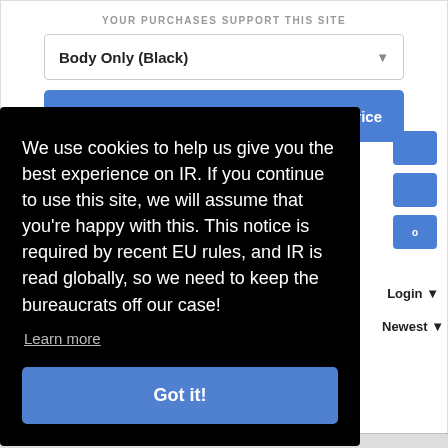YOUR PURCHASES SUPPORT THIS SITE
Body Only (Black)
Buy from Amazon   Click to see price
We use cookies to help us give you the best experience on IR. If you continue to use this site, we will assume that you're happy with this. This notice is required by recent EU rules, and IR is read globally, so we need to keep the bureaucrats off our case!
Learn more
Got it!
Login
Newest